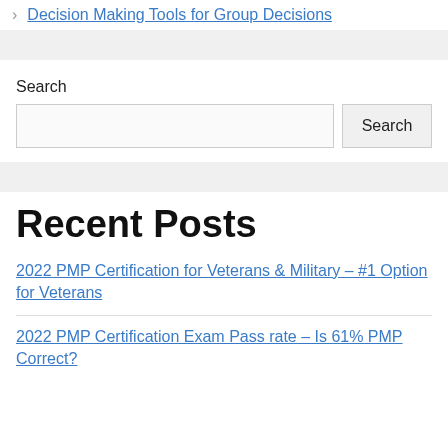> Decision Making Tools for Group Decisions
Search
Recent Posts
2022 PMP Certification for Veterans & Military – #1 Option for Veterans
2022 PMP Certification Exam Pass rate – Is 61% PMP Correct?